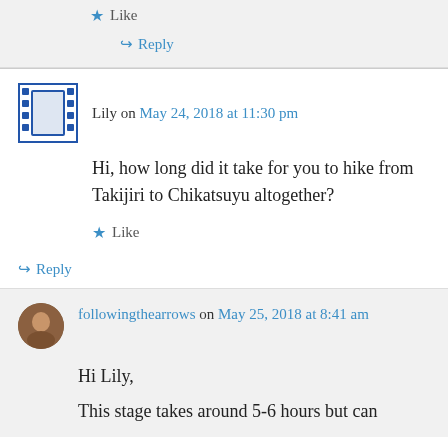★ Like
↪ Reply
Lily on May 24, 2018 at 11:30 pm
Hi, how long did it take for you to hike from Takijiri to Chikatsuyu altogether?
★ Like
↪ Reply
followingthearrows on May 25, 2018 at 8:41 am
Hi Lily,
This stage takes around 5-6 hours but can